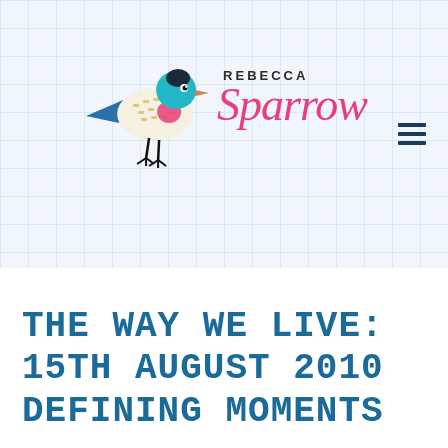[Figure (logo): Rebecca Sparrow blog logo with illustrated colorful bird (teal head, yellow/white patterned body, pink cheek, blue wing, black legs) and text 'REBECCA Sparrow' in bold uppercase and pink cursive script, on a light blue grid background]
THE WAY WE LIVE: 15TH AUGUST 2010 DEFINING MOMENTS
WRITTEN BY BECSPARROW | AUGUST 27, 2010